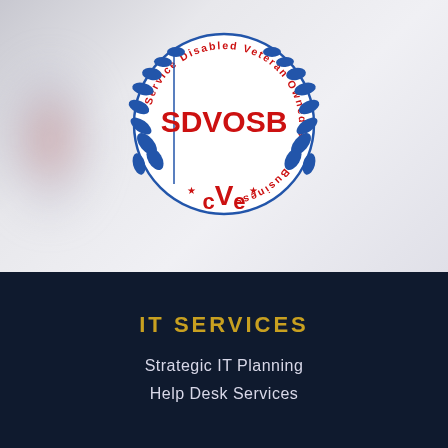[Figure (logo): SDVOSB - Service Disabled Veteran Owned Small Business certification seal with blue laurel wreath, circular text, and CVE branding]
IT SERVICES
Strategic IT Planning
Help Desk Services